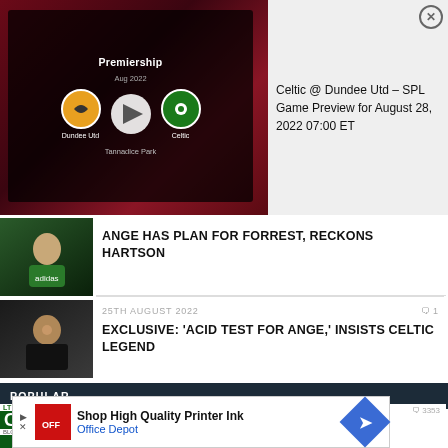[Figure (screenshot): Video preview card showing Premiership match: Dundee Utd vs Celtic, with play button, team logos, date Aug 2022, venue Tannadice Park]
Celtic @ Dundee Utd – SPL Game Preview for August 28, 2022 07:00 ET
[Figure (photo): Celtic player in green and white kit]
ANGE HAS PLAN FOR FORREST, RECKONS HARTSON
25TH AUGUST 2022
1
[Figure (photo): Man in dark jacket, Celtic manager Ange Postecoglou]
EXCLUSIVE: 'ACID TEST FOR ANGE,' INSISTS CELTIC LEGEND
POPULAR
19TH SEPTEMBER 2014
3353
[Figure (logo): CQN (Celtic Quick News) logo on green background]
Textbook away performance, Brand Britain
[Figure (screenshot): Advertisement: Shop High Quality Printer Ink – Office Depot]